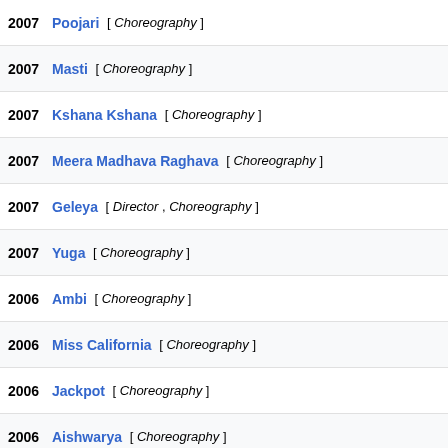2007 Poojari [ Choreography ]
2007 Masti [ Choreography ]
2007 Kshana Kshana [ Choreography ]
2007 Meera Madhava Raghava [ Choreography ]
2007 Geleya [ Director , Choreography ]
2007 Yuga [ Choreography ]
2006 Ambi [ Choreography ]
2006 Miss California [ Choreography ]
2006 Jackpot [ Choreography ]
2006 Aishwarya [ Choreography ]
2006 Mungaru Male [ Choreography ]
2005 Maharaja [ Choreography ]